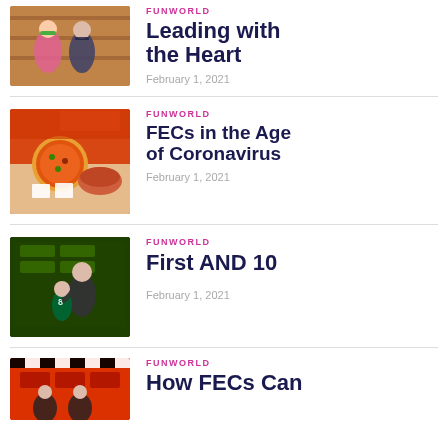[Figure (photo): Two people standing in a store, one wearing a green mask and patterned outfit, another in dark jacket]
FUNWORLD
Leading with the Heart
February 1, 2021
[Figure (photo): Food items including pizza and other dishes on a table]
FUNWORLD
FECs in the Age of Coronavirus
February 1, 2021
[Figure (photo): Person with child in front of a green sports themed backdrop, child wearing jersey number 8]
FUNWORLD
First AND 10
February 1, 2021
[Figure (photo): People at a red backdrop event with checkered flag pattern]
FUNWORLD
How FECs Can